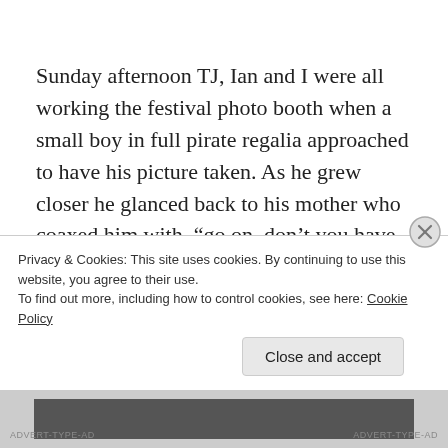Sunday afternoon TJ, Ian and I were all working the festival photo booth when a small boy in full pirate regalia approached to have his picture taken. As he grew closer he glanced back to his mother who coaxed him with, “go on, don’t you have something to say to Captain Jack?” The boy then glanced towards me and a smirk of defiance grew across his face, he
Privacy & Cookies: This site uses cookies. By continuing to use this website, you agree to their use.
To find out more, including how to control cookies, see here: Cookie Policy
Close and accept